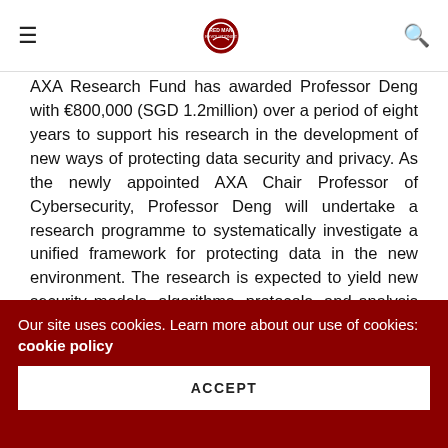≡  [Red Man Revolutionist logo]  🔍
AXA Research Fund has awarded Professor Deng with €800,000 (SGD 1.2million) over a period of eight years to support his research in the development of new ways of protecting data security and privacy. As the newly appointed AXA Chair Professor of Cybersecurity, Professor Deng will undertake a research programme to systematically investigate a unified framework for protecting data in the new environment. The research is expected to yield new security models, algorithms, protocols, and analysis techniques which will help organisations and individuals mitigate risks emanating from cybersecurity threats.
Our site uses cookies. Learn more about our use of cookies: cookie policy
ACCEPT